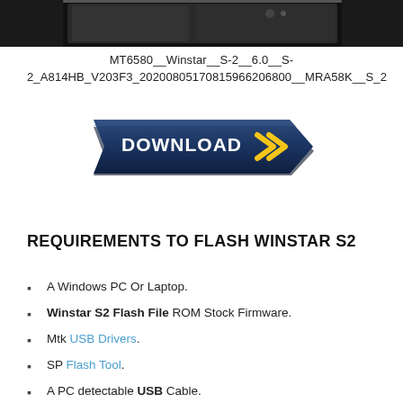[Figure (photo): Top portion of a photo showing a dark-colored smartphone device against a white background]
MT6580__Winstar__S-2__6.0__S-2_A814HB_V203F3_20200805170815966206800__MRA58K__S_2
[Figure (illustration): Dark navy blue download button with yellow double chevron arrows and white text reading DOWNLOAD]
REQUIREMENTS TO FLASH WINSTAR S2
A Windows PC Or Laptop.
Winstar S2 Flash File ROM Stock Firmware.
Mtk USB Drivers.
SP Flash Tool.
A PC detectable USB Cable.
Should have your device charge the battery up to 50%.